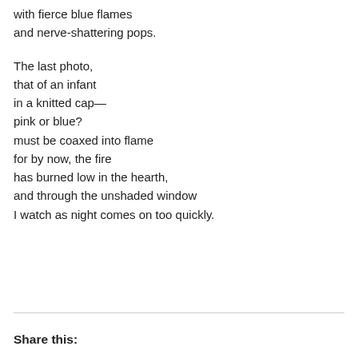with fierce blue flames
and nerve-shattering pops.

The last photo,
that of an infant
in a knitted cap—
pink or blue?
must be coaxed into flame
for by now, the fire
has burned low in the hearth,
and through the unshaded window
I watch as night comes on too quickly.
Share this: